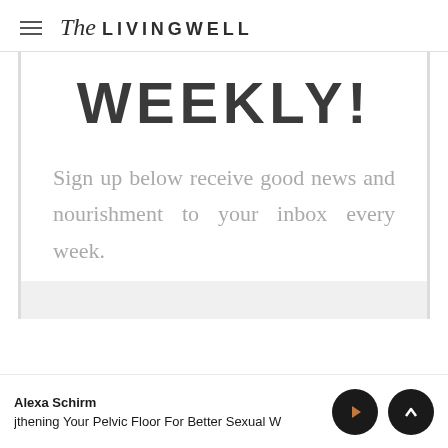The LIVINGWELL
WEEKLY!
Sign up below receive good news and nourishment to your inbox every week.
Alexa Schirm — jthening Your Pelvic Floor For Better Sexual W